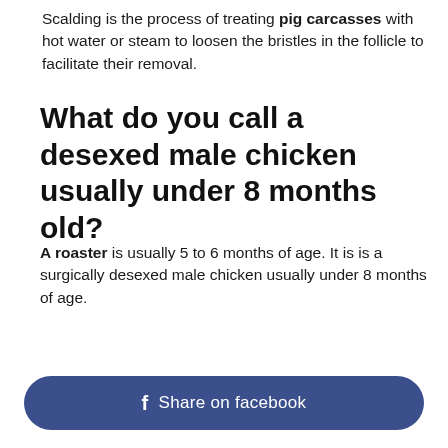Scalding is the process of treating pig carcasses with hot water or steam to loosen the bristles in the follicle to facilitate their removal.
What do you call a desexed male chicken usually under 8 months old?
A roaster is usually 5 to 6 months of age. It is is a surgically desexed male chicken usually under 8 months of age.
Share on facebook